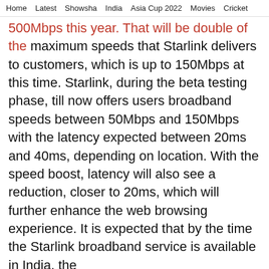Home   Latest   Showsha   India   Asia Cup 2022   Movies   Cricket
500Mbps this year. That will be double of the maximum speeds that Starlink delivers to customers, which is up to 150Mbps at this time. Starlink, during the beta testing phase, till now offers users broadband speeds between 50Mbps and 150Mbps with the latency expected between 20ms and 40ms, depending on location. With the speed boost, latency will also see a reduction, closer to 20ms, which will further enhance the web browsing experience. It is expected that by the time the Starlink broadband service is available in India, the
Movies   Photos   Live TV   Videos   Share